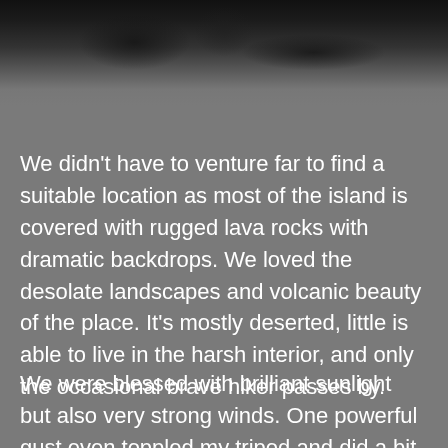[Figure (photo): A dark, blurry photograph showing a rugged volcanic landscape with dark rock formations, appearing in grayscale/dark tones at the top of the page.]
We didn't have to venture far to find a suitable location as most of the island is covered with rugged lava rocks with dramatic backdrops. We loved the desolate landscapes and volcanic beauty of the place. It's mostly deserted, little is able to live in the harsh interior, and only the occasional brave hiker passes by.
We were blessed with brilliant sunlight but also very strong winds. One powerful gust even toppled my tripod and did a bit of damage to the